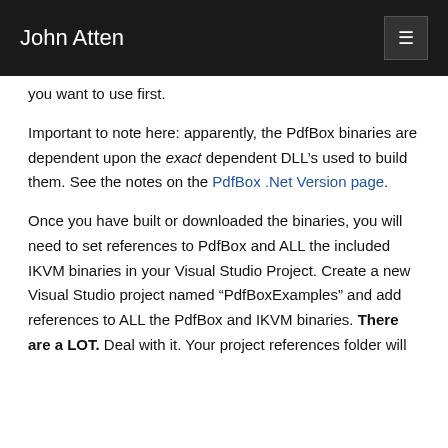John Atten
you want to use first.
Important to note here: apparently, the PdfBox binaries are dependent upon the exact dependent DLL’s used to build them. See the notes on the PdfBox .Net Version page.
Once you have built or downloaded the binaries, you will need to set references to PdfBox and ALL the included IKVM binaries in your Visual Studio Project. Create a new Visual Studio project named “PdfBoxExamples” and add references to ALL the PdfBox and IKVM binaries. There are a LOT. Deal with it. Your project references folder will